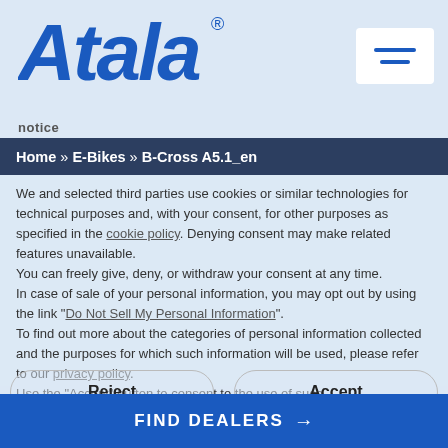[Figure (logo): Atala brand logo in blue italic bold text with registered trademark symbol]
notice
[Figure (other): Hamburger menu icon button with two horizontal blue lines on white background]
Home » E-Bikes » B-Cross A5.1_en
We and selected third parties use cookies or similar technologies for technical purposes and, with your consent, for other purposes as specified in the cookie policy. Denying consent may make related features unavailable.
You can freely give, deny, or withdraw your consent at any time.
In case of sale of your personal information, you may opt out by using the link "Do Not Sell My Personal Information".
To find out more about the categories of personal information collected and the purposes for which such information will be used, please refer to our privacy policy.
Use the "Accept" button to consent to the use of such
Reject
Accept
Learn more and customise
FIND DEALERS →